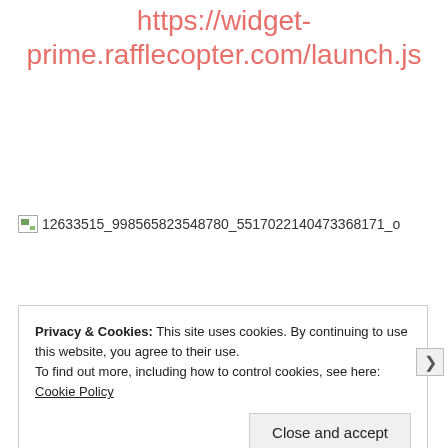https://widget-prime.rafflecopter.com/launch.js
[Figure (other): Broken image placeholder with filename: 12633515_998565823548780_5517022140473368171_o]
Privacy & Cookies: This site uses cookies. By continuing to use this website, you agree to their use.
To find out more, including how to control cookies, see here: Cookie Policy
Close and accept